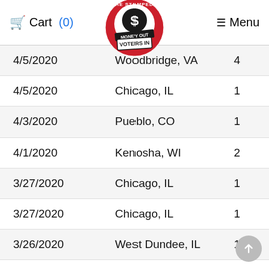Cart (0)  [THE STAMPEDE MONEY OUT VOTERS IN logo]  Menu
| 4/5/2020 | Woodbridge, VA | 4 |
| 4/5/2020 | Chicago, IL | 1 |
| 4/3/2020 | Pueblo, CO | 1 |
| 4/1/2020 | Kenosha, WI | 2 |
| 3/27/2020 | Chicago, IL | 1 |
| 3/27/2020 | Chicago, IL | 1 |
| 3/26/2020 | West Dundee, IL | 1 |
| 3/25/2020 | Chicago, IL | 1 |